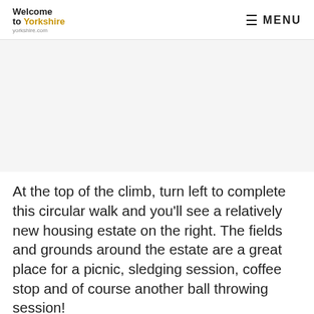Welcome to Yorkshire yorkshire.com MENU
[Figure (photo): Photograph of a Yorkshire landscape or walk scene (image area appears blank/white in this render)]
At the top of the climb, turn left to complete this circular walk and you'll see a relatively new housing estate on the right. The fields and grounds around the estate are a great place for a picnic, sledging session, coffee stop and of course another ball throwing session!